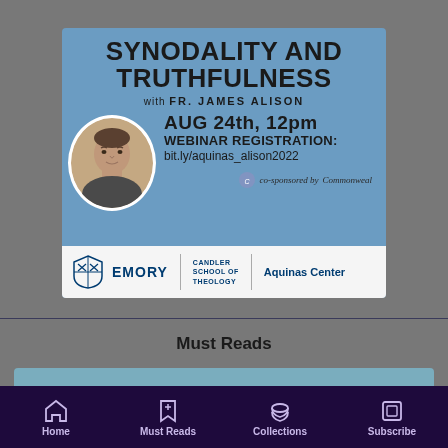[Figure (infographic): Event poster for 'Synodality and Truthfulness' webinar with Fr. James Alison on Aug 24th, 12pm. Registration at bit.ly/aquinas_alison2022. Co-sponsored by Commonweal. Hosted by Emory Candler School of Theology Aquinas Center. Features a circular headshot of Fr. James Alison.]
Must Reads
[Figure (other): Partial blue card for Must Reads section content]
Home   Must Reads   Collections   Subscribe